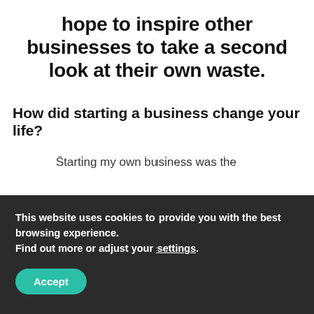hope to inspire other businesses to take a second look at their own waste.
How did starting a business change your life?
Starting my own business was the scariest thing I had ever done. At one point I had to sell my car, rent out my
This website uses cookies to provide you with the best browsing experience.
Find out more or adjust your settings.